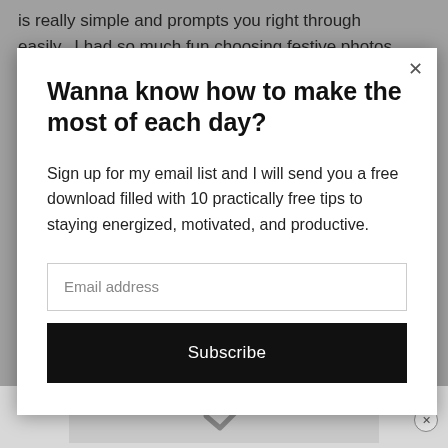is really simple and prompts you right through easily.  I had so much fun choosing festive photos
Wanna know how to make the most of each day?
Sign up for my email list and I will send you a free download filled with 10 practically free tips to staying energized, motivated, and productive.
Email address
Subscribe
[Figure (screenshot): Bottom advertisement bar with a checkmark-style icon and a circular close button]